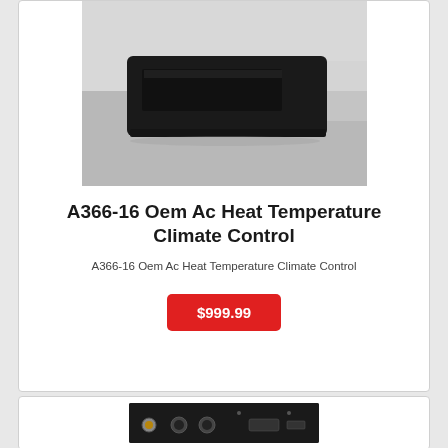[Figure (photo): Photo of a black rectangular OEM AC heat temperature climate control unit on a white/grey background]
A366-16 Oem Ac Heat Temperature Climate Control
A366-16 Oem Ac Heat Temperature Climate Control
$999.99
[Figure (photo): Partial photo of the back of an electronic device with connectors and ports, black surface]